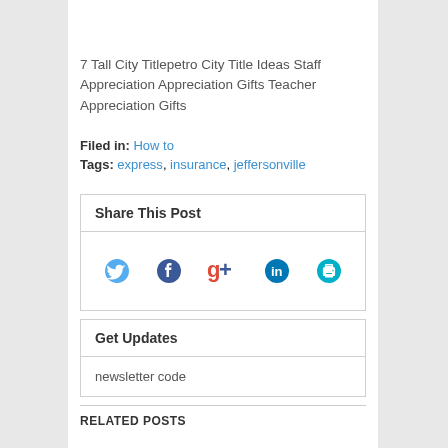7 Tall City Titlepetro City Title Ideas Staff Appreciation Appreciation Gifts Teacher Appreciation Gifts
Filed in: How to
Tags: express, insurance, jeffersonville
Share This Post
[Figure (infographic): Social share icons: Twitter (blue bird), Facebook (blue f), Google+ (red/blue g+), LinkedIn (blue in), Print (teal printer)]
Get Updates
newsletter code
RELATED POSTS